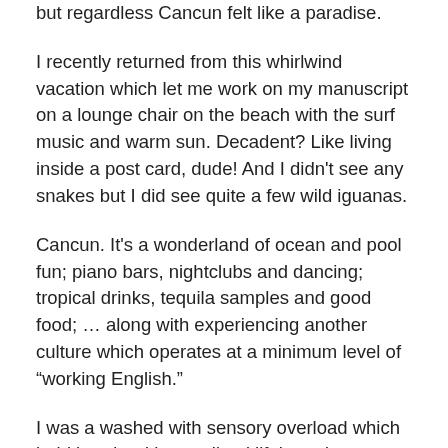but regardless Cancun felt like a paradise.
I recently returned from this whirlwind vacation which let me work on my manuscript on a lounge chair on the beach with the surf music and warm sun. Decadent? Like living inside a post card, dude! And I didn't see any snakes but I did see quite a few wild iguanas.
Cancun. It's a wonderland of ocean and pool fun; piano bars, nightclubs and dancing; tropical drinks, tequila samples and good food; … along with experiencing another culture which operates at a minimum level of “working English.”
I was a washed with sensory overload which held hands with a realized lifelong dream. See, I've ALWAYS wanting to go “tramping” through archaeological ruins and I got that opportunity with my time at both Chichen Itza and